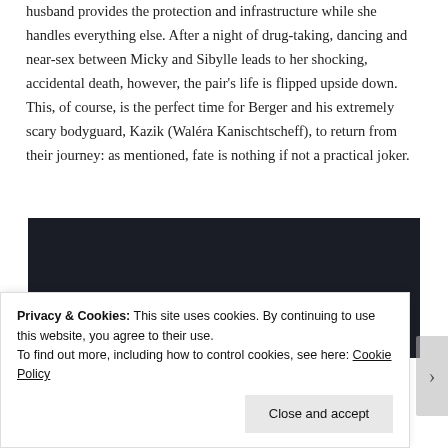husband provides the protection and infrastructure while she handles everything else. After a night of drug-taking, dancing and near-sex between Micky and Sibylle leads to her shocking, accidental death, however, the pair's life is flipped upside down. This, of course, is the perfect time for Berger and his extremely scary bodyguard, Kazik (Waléra Kanischtscheff), to return from their journey: as mentioned, fate is nothing if not a practical joker.
[Figure (screenshot): Dark banner image showing the 'sensei' logo with an icon on the left and 'Powered by WordPress.com' text on the right, on a dark navy/black background.]
Privacy & Cookies: This site uses cookies. By continuing to use this website, you agree to their use.
To find out more, including how to control cookies, see here: Cookie Policy